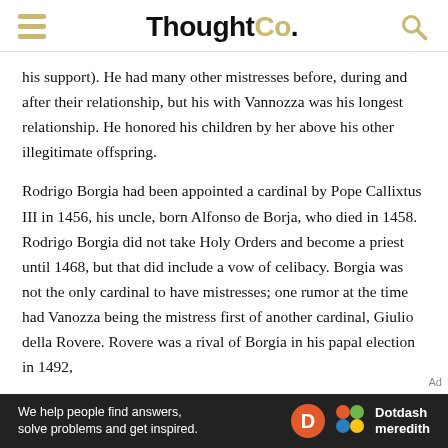ThoughtCo.
his support). He had many other mistresses before, during and after their relationship, but his with Vannozza was his longest relationship. He honored his children by her above his other illegitimate offspring.
Rodrigo Borgia had been appointed a cardinal by Pope Callixtus III in 1456, his uncle, born Alfonso de Borja, who died in 1458. Rodrigo Borgia did not take Holy Orders and become a priest until 1468, but that did include a vow of celibacy. Borgia was not the only cardinal to have mistresses; one rumor at the time had Vanozza being the mistress first of another cardinal, Giulio della Rovere. Rovere was a rival of Borgia in his papal election in 1492,
[Figure (other): Dotdash Meredith advertisement banner: 'We help people find answers, solve problems and get inspired.']